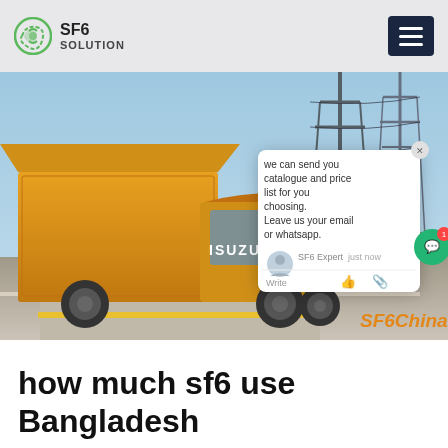SF6 SOLUTION
[Figure (photo): Yellow ISUZU truck parked near an electrical substation with power transmission towers and lines in the background. A chat popup overlay appears on the right side saying 'we can send you catalogue and price list for you choosing. Leave us your email or whatsapp.' with SF6 Expert label and 'just now' timestamp. SF6China watermark in orange at bottom right.]
how much sf6 use Bangladesh